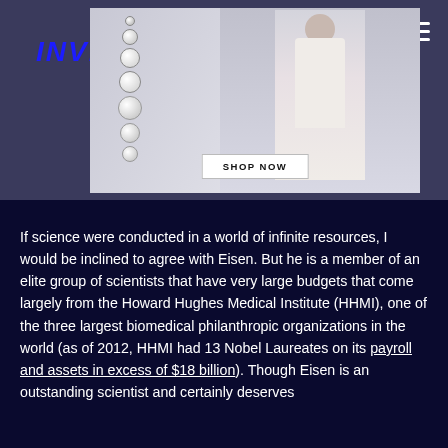INVERSE
[Figure (photo): Advertisement banner showing jewelry (diamond earrings and accessories) with a model wearing them, with a 'SHOP NOW' button overlay]
If science were conducted in a world of infinite resources, I would be inclined to agree with Eisen. But he is a member of an elite group of scientists that have very large budgets that come largely from the Howard Hughes Medical Institute (HHMI), one of the three largest biomedical philanthropic organizations in the world (as of 2012, HHMI had 13 Nobel Laureates on its payroll and assets in excess of $18 billion). Though Eisen is an outstanding scientist and certainly deserves...